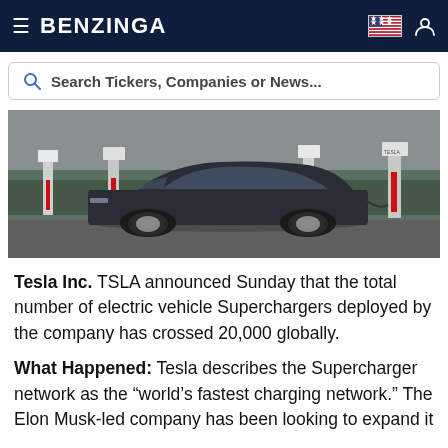BENZINGA
Search Tickers, Companies or News...
[Figure (photo): A dark Tesla electric vehicle parked at a Tesla Supercharger station with multiple Supercharger stalls visible in the background.]
Tesla Inc. TSLA announced Sunday that the total number of electric vehicle Superchargers deployed by the company has crossed 20,000 globally.
What Happened: Tesla describes the Supercharger network as the “world’s fastest charging network.” The Elon Musk-led company has been looking to expand it